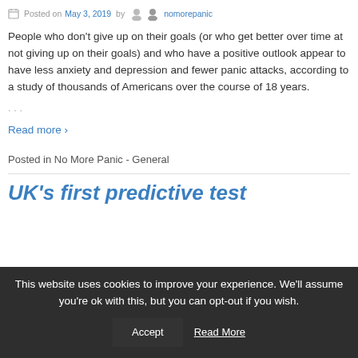Posted on May 3, 2019 by nomorepanic
People who don't give up on their goals (or who get better over time at not giving up on their goals) and who have a positive outlook appear to have less anxiety and depression and fewer panic attacks, according to a study of thousands of Americans over the course of 18 years.
…
Read more ›
Posted in No More Panic - General
UK's first predictive test
This website uses cookies to improve your experience. We'll assume you're ok with this, but you can opt-out if you wish.